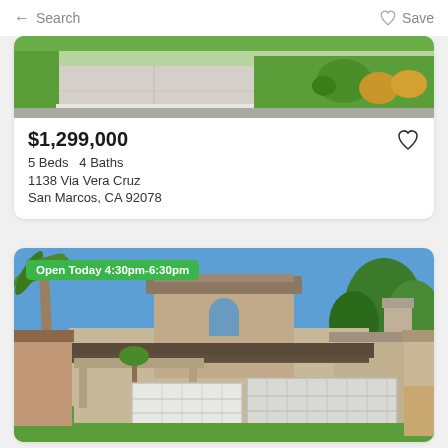← Search    ♡ Save
[Figure (photo): Aerial view of driveway and landscaping with green lawn and garden plants]
$1,299,000
5 Beds   4 Baths
1138 Via Vera Cruz
San Marcos, CA 92078
[Figure (photo): Two-story beige stucco house with three-car garage, palm trees, blue sky; Open Today 4:30pm-6:30pm badge]